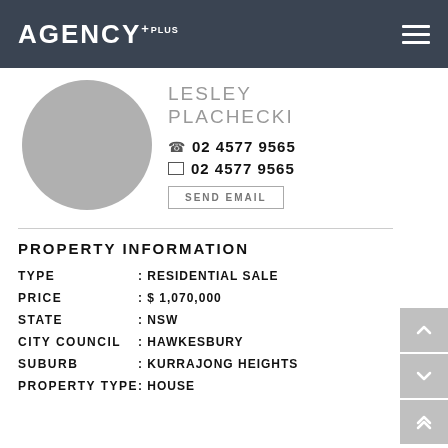AGENCY+ PLUS
[Figure (photo): Circular grey placeholder photo of agent Lesley Plachecki]
LESLEY PLACHECKI
02 4577 9565
02 4577 9565
SEND EMAIL
PROPERTY INFORMATION
| Field | Value |
| --- | --- |
| TYPE | : RESIDENTIAL SALE |
| PRICE | : $ 1,070,000 |
| STATE | : NSW |
| CITY COUNCIL | : HAWKESBURY |
| SUBURB | : KURRAJONG HEIGHTS |
| PROPERTY TYPE | : HOUSE |